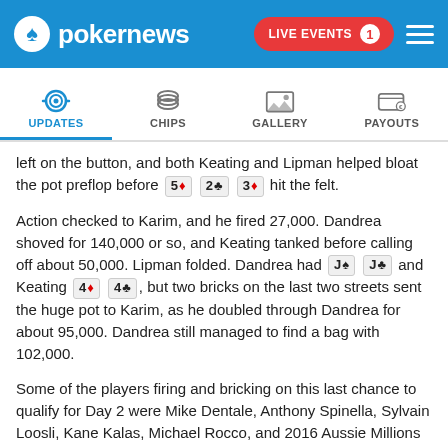pokernews — LIVE EVENTS 1
[Figure (screenshot): Navigation tabs: UPDATES (active), CHIPS, GALLERY, PAYOUTS]
left on the button, and both Keating and Lipman helped bloat the pot preflop before 5♦ 2♣ 3♦ hit the felt.
Action checked to Karim, and he fired 27,000. Dandrea shoved for 140,000 or so, and Keating tanked before calling off about 50,000. Lipman folded. Dandrea had J♠ J♣ and Keating 4♦ 4♣, but two bricks on the last two streets sent the huge pot to Karim, as he doubled through Dandrea for about 95,000. Dandrea still managed to find a bag with 102,000.
Some of the players firing and bricking on this last chance to qualify for Day 2 were Mike Dentale, Anthony Spinella, Sylvain Loosli, Kane Kalas, Michael Rocco, and 2016 Aussie Millions champ Ari Engel.